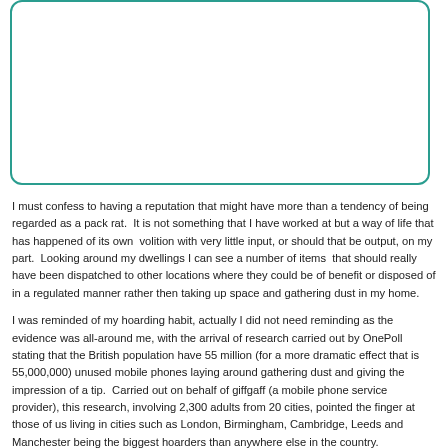[Figure (other): Rounded rectangular box with teal/green border, empty interior]
I must confess to having a reputation that might have more than a tendency of being regarded as a pack rat.  It is not something that I have worked at but a way of life that has happened of its own  volition with very little input, or should that be output, on my part.  Looking around my dwellings I can see a number of items  that should really have been dispatched to other locations where they could be of benefit or disposed of in a regulated manner rather then taking up space and gathering dust in my home.
I was reminded of my hoarding habit, actually I did not need reminding as the evidence was all-around me, with the arrival of research carried out by OnePoll stating that the British population have 55 million (for a more dramatic effect that is 55,000,000) unused mobile phones laying around gathering dust and giving the impression of a tip.  Carried out on behalf of giffgaff (a mobile phone service provider), this research, involving 2,300 adults from 20 cities, pointed the finger at those of us living in cities such as London, Birmingham, Cambridge, Leeds and Manchester being the biggest hoarders than anywhere else in the country.
As you might expect, London came out top in the hoarding aspect with